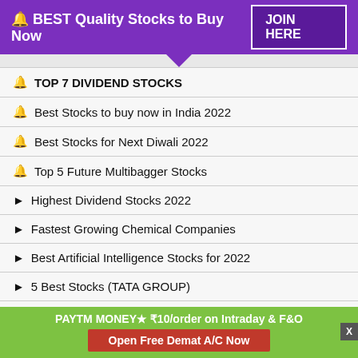🔔 BEST Quality Stocks to Buy Now   JOIN HERE
🔔 TOP 7 DIVIDEND STOCKS
🔔 Best Stocks to buy now in India 2022
🔔 Best Stocks for Next Diwali 2022
🔔 Top 5 Future Multibagger Stocks
▶ Highest Dividend Stocks 2022
▶ Fastest Growing Chemical Companies
▶ Best Artificial Intelligence Stocks for 2022
▶ 5 Best Stocks (TATA GROUP)
🔔 Best Penny Stocks to buy now
PAYTM MONEY★ ₹10/order on Intraday & F&O   Open Free Demat A/C Now